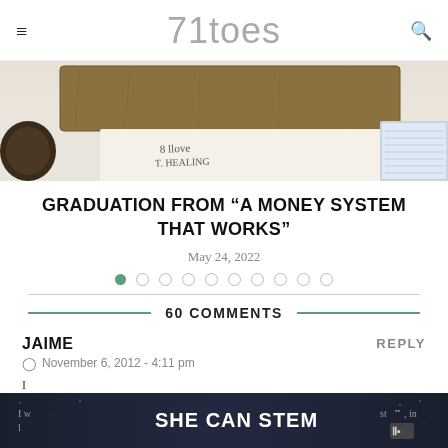71toes
[Figure (photo): Photo of a wooden board with handwritten text on a table, with a circular object on the left and a notebook on the right]
GRADUATION FROM “A MONEY SYSTEM THAT WORKS”
May 24, 2022
60 COMMENTS
JAIME
November 6, 2012 - 4:11 pm
I w... st..., in
[Figure (screenshot): SHE CAN STEM advertisement banner at the bottom of the page]